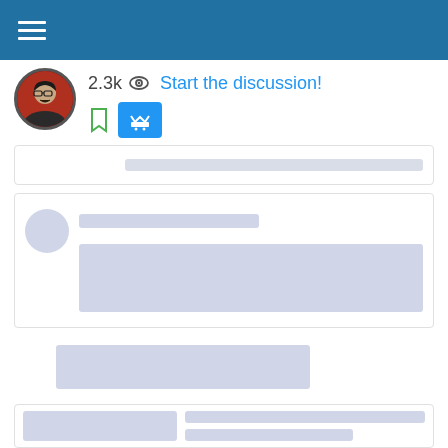[Figure (screenshot): Mobile app screenshot showing a blue header with hamburger menu icon, a user profile photo, view count 2.3k with eye icon, 'Start the discussion!' link in blue, bookmark and shopping cart action buttons, and placeholder content cards below with gray loading blocks]
2.3k
Start the discussion!